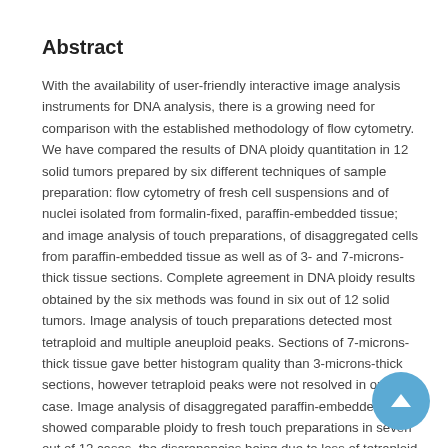Abstract
With the availability of user-friendly interactive image analysis instruments for DNA analysis, there is a growing need for comparison with the established methodology of flow cytometry. We have compared the results of DNA ploidy quantitation in 12 solid tumors prepared by six different techniques of sample preparation: flow cytometry of fresh cell suspensions and of nuclei isolated from formalin-fixed, paraffin-embedded tissue; and image analysis of touch preparations, of disaggregated cells from paraffin-embedded tissue as well as of 3- and 7-microns-thick tissue sections. Complete agreement in DNA ploidy results obtained by the six methods was found in six out of 12 solid tumors. Image analysis of touch preparations detected most tetraploid and multiple aneuploid peaks. Sections of 7-microns-thick tissue gave better histogram quality than 3-microns-thick sections, however tetraploid peaks were not resolved in one case. Image analysis of disaggregated paraffin-embedded tumor showed comparable ploidy to fresh touch preparations in seven out of 12 cases, the discrepancies being due to loss of tetraploid or multiple aneuploid peaks. Flow cytometry gave good